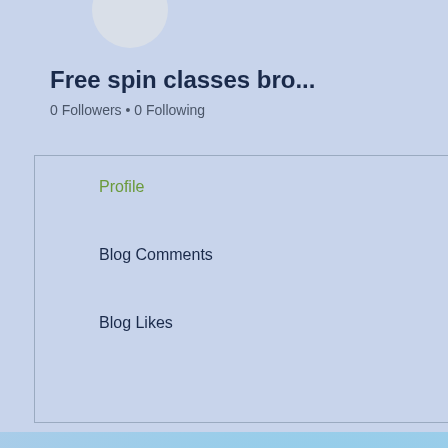[Figure (screenshot): User profile avatar circle placeholder in light grey/blue]
Free spin classes bro...
0 Followers • 0 Following
Profile
Blog Comments
Blog Likes
[Figure (photo): Clouds in sky, pink and white cumulus clouds against blue sky]
About
Free spin cla
Free spin classes bro
[Figure (photo): Blurred dark teal image with white blurred element, green bar at bottom — appears to be a blurred thumbnail or screenshot]